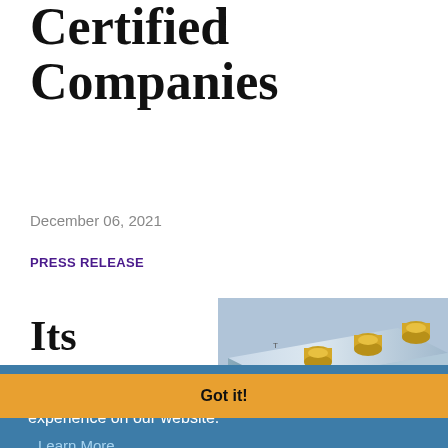Certified Companies
December 06, 2021
PRESS RELEASE
Its
[Figure (photo): A lithium battery or industrial electronic device with gold-colored terminal posts on top, shown at an angle against a light background.]
This website uses cookies to ensure you get the best experience on our website. Learn More
Got it!
Image Courtesy of Eurotech